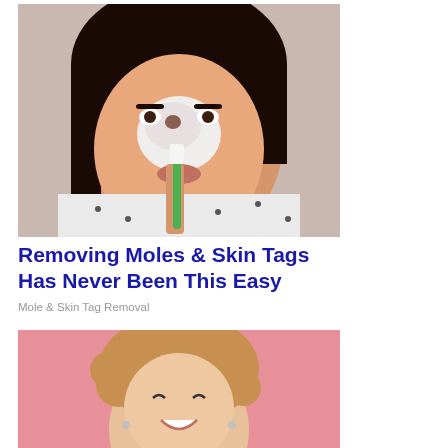[Figure (photo): A woman applying a white cream/paste on her nose using a green toothbrush, wearing a white polka-dot top, looking at the camera]
Removing Moles & Skin Tags Has Never Been This Easy
Mole & Skin Tag Removal
[Figure (photo): A smiling young woman with curly hair against a pink background]